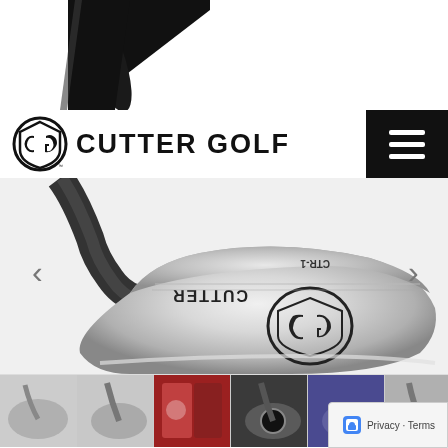[Figure (photo): Black golf club shaft/head partially visible in top-left corner]
[Figure (logo): Cutter Golf logo with CG emblem and text 'CUTTER GOLF']
[Figure (photo): Main product image: chrome/silver Cutter Golf CTR-1 wedge club head with CUTTER and CG logo engraved, viewed from top]
[Figure (photo): Row of 6 thumbnail images showing various Cutter Golf club products and close-ups]